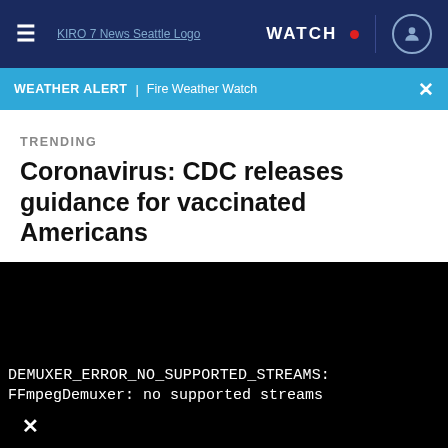≡  KIRO 7 News Seattle Logo  WATCH  •  [user icon]
WEATHER ALERT | Fire Weather Watch  ×
TRENDING
Coronavirus: CDC releases guidance for vaccinated Americans
[Figure (screenshot): Black video player area showing error message: DEMUXER_ERROR_NO_SUPPORTED_STREAMS: FFmpegDemuxer: no supported streams, with a close (×) button]